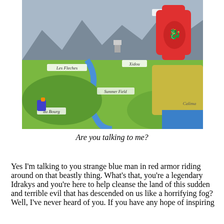[Figure (photo): A fantasy board game map with colorful terrain including rivers, mountains, and fields. Location labels visible including 'Les Fleches', 'Xidou', 'Summer Field', 'au Bourg', 'Garison'. A red wooden token/piece shaped like a cross with a dragon or warrior figure on top is placed on the map.]
Are you talking to me?
Yes I'm talking to you strange blue man in red armor riding around on that beastly thing. What's that, you're a legendary Idrakys and you're here to help cleanse the land of this sudden and terrible evil that has descended on us like a horrifying fog? Well, I've never heard of you. If you have any hope of inspiring